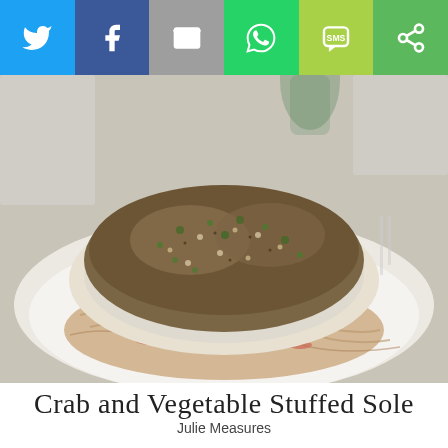[Figure (other): Social share bar with Twitter, Facebook, Email, WhatsApp, SMS, and More buttons]
[Figure (photo): Close-up photo of Crab and Vegetable Stuffed Sole dish on a white plate, topped with a nut/herb crust, served on a bed of noodles and vegetables]
Crab and Vegetable Stuffed Sole
Julie Measures